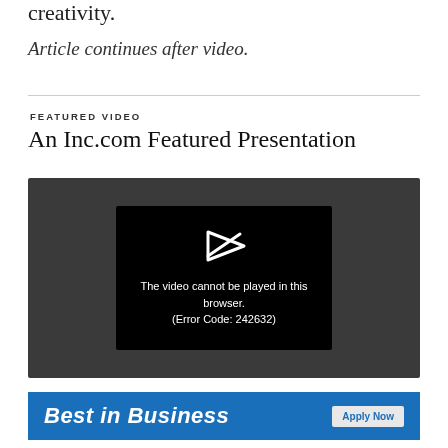creativity.
Article continues after video.
FEATURED VIDEO
An Inc.com Featured Presentation
[Figure (screenshot): Video player showing error: The video cannot be played in this browser. (Error Code: 242632)]
[Figure (infographic): Advertisement banner: Best in Business, Apply Now]